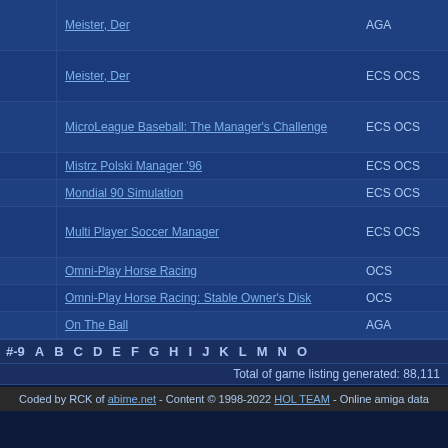|  | Game | Version |
| --- | --- | --- |
|  | Meister, Der | AGA |
|  | Meister, Der | ECS OCS |
|  | MicroLeague Baseball: The Manager's Challenge | ECS OCS |
|  | Mistrz Polski Manager '96 | ECS OCS |
|  | Mondial 90 Simulation | ECS OCS |
|  | Multi Player Soccer Manager | ECS OCS |
|  | Omni-Play Horse Racing | OCS |
|  | Omni-Play Horse Racing: Stable Owner's Disk | OCS |
|  | On The Ball | AGA |
#-9 A B C D E F G H I J K L M N O
Total of game listing generated: 88,111
Coded by RCK of abime.net - Content © 1998-2022 HOL TEAM - Online amiga data